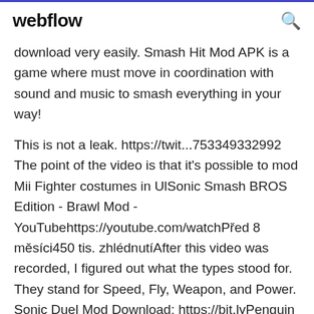webflow
download very easily. Smash Hit Mod APK is a game where must move in coordination with sound and music to smash everything in your way!
This is not a leak. https://twit...753349332992 The point of the video is that it's possible to mod Mii Fighter costumes in UlSonic Smash BROS Edition - Brawl Mod - YouTubehttps://youtube.com/watchPřed 8 měsíci450 tis. zhlédnutíAfter this video was recorded, I figured out what the types stood for. They stand for Speed, Fly, Weapon, and Power. Sonic Duel Mod Download: https://bit.lyPenguin Smash mod for Half-Life 2